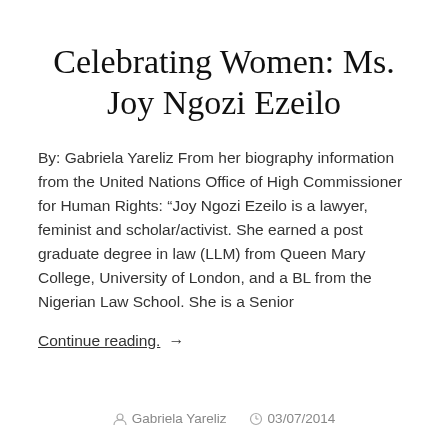Celebrating Women: Ms. Joy Ngozi Ezeilo
By: Gabriela Yareliz From her biography information from the United Nations Office of High Commissioner for Human Rights: “Joy Ngozi Ezeilo is a lawyer, feminist and scholar/activist. She earned a post graduate degree in law (LLM) from Queen Mary College, University of London, and a BL from the Nigerian Law School. She is a Senior
Continue reading. →
Gabriela Yareliz   03/07/2014